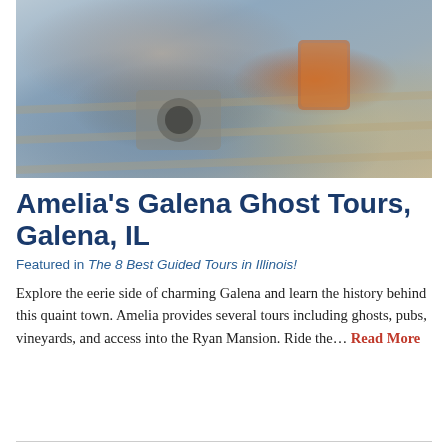[Figure (photo): A woman sitting on wooden steps holding a vintage film camera in one hand and a glass of iced tea in the other, wearing jeans and a floral top]
Amelia's Galena Ghost Tours, Galena, IL
Featured in The 8 Best Guided Tours in Illinois!
Explore the eerie side of charming Galena and learn the history behind this quaint town. Amelia provides several tours including ghosts, pubs, vineyards, and access into the Ryan Mansion. Ride the... Read More